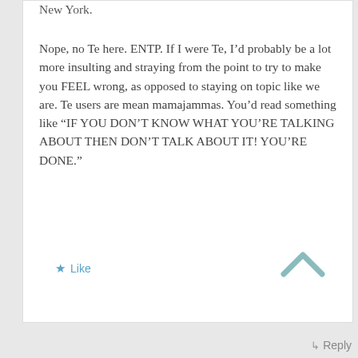New York.
Nope, no Te here. ENTP. If I were Te, I’d probably be a lot more insulting and straying from the point to try to make you FEEL wrong, as opposed to staying on topic like we are. Te users are mean mamajammas. You’d read something like “IF YOU DON’T KNOW WHAT YOU’RE TALKING ABOUT THEN DON’T TALK ABOUT IT! YOU’RE DONE.”